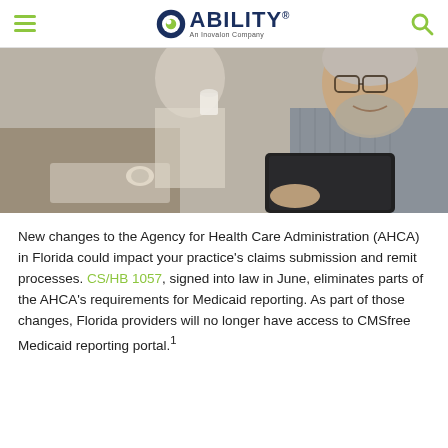ABILITY – An Inovalon Company
[Figure (photo): Older man with glasses and beard smiling while using a tablet, woman in background holding a coffee cup, office setting]
New changes to the Agency for Health Care Administration (AHCA) in Florida could impact your practice's claims submission and remit processes. CS/HB 1057, signed into law in June, eliminates parts of the AHCA's requirements for Medicaid reporting. As part of those changes, Florida providers will no longer have access to CMSfree Medicaid reporting portal.¹